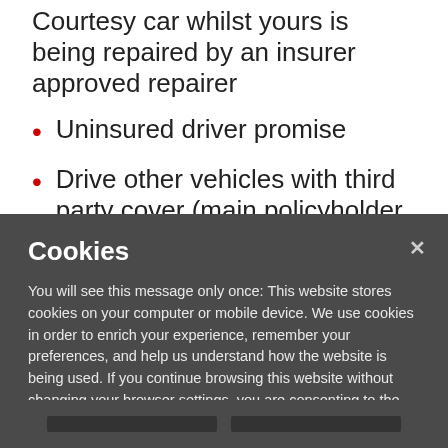Courtesy car whilst yours is being repaired by an insurer approved repairer
Uninsured driver promise
Drive other vehicles with third party cover (main policyholder only)
There are no complicated forms to fill out and the scheme
Cookies
You will see this message only once: This website stores cookies on your computer or mobile device. We use cookies in order to enrich your experience, remember your preferences, and help us understand how the website is being used. If you continue browsing this website without changing your browser settings, you are consenting to the placement and use of these cookies although you can change your settings at any time. Cookie Notice